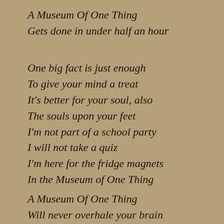A Museum Of One Thing
Gets done in under half an hour
One big fact is just enough
To give your mind a treat
It's better for your soul, also
The souls upon your feet
I'm not part of a school party
I will not take a quiz
I'm here for the fridge magnets
In the Museum of One Thing
A Museum Of One Thing
Will never overhale your brain